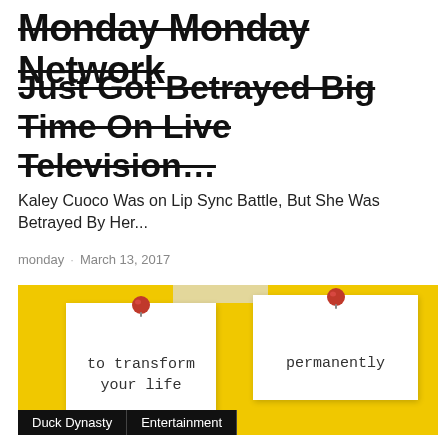Monday Monday Network
Just Got Betrayed Big Time On Live Television…
Kaley Cuoco Was on Lip Sync Battle, But She Was Betrayed By Her...
monday · March 13, 2017
[Figure (photo): Yellow background with two white note cards pinned by red pushpins. Left card reads 'to transform your life', right card reads 'permanently'.]
Duck Dynasty · Entertainment